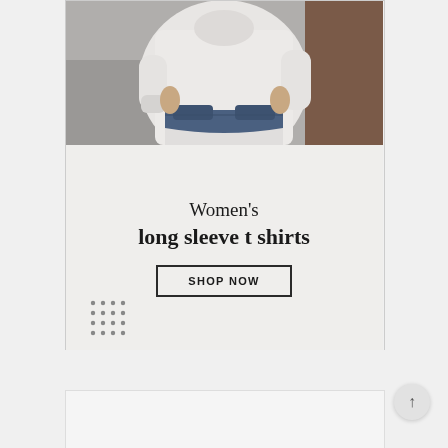[Figure (photo): Close-up photo of a woman wearing a white long-sleeve shirt and blue jeans, hands in pockets, cropped at mid-torso]
Women's long sleeve t shirts
SHOP NOW